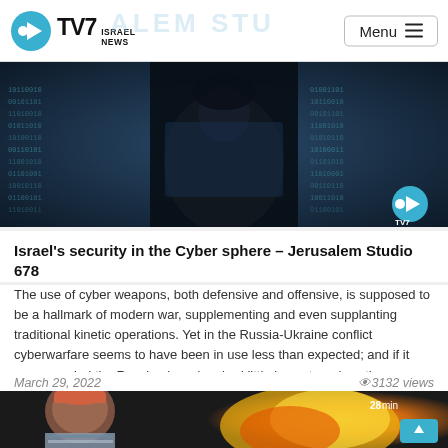TV7 Israel News — Menu
[Figure (photo): Dark cyber-themed image showing a hooded figure in front of binary code / digital data background, with TV7 logo watermark in bottom right]
Israel's security in the Cyber sphere – Jerusalem Studio 678
The use of cyber weapons, both defensive and offensive, is supposed to be a hallmark of modern war, supplementing and even supplanting traditional kinetic operations. Yet in the Russia-Ukraine conflict cyberwarfare seems to have been in use less than expected; and if it accompanied the Russian invasion, had little impact - unless the domestic Russian...
March 29, 2022   👁 3132 views
[Figure (photo): Second article thumbnail: close-up of person with orange/yellow explosion in background. Badge showing '28 min' in top right, scroll-up button in bottom right.]